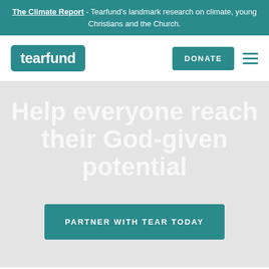The Climate Report - Tearfund's landmark research on climate, young Christians and the Church.
[Figure (logo): Tearfund logo — white text 'tearfund' on teal rounded rectangle background]
DONATE
Help everyone reach their God-given potential
PARTNER WITH TEAR TODAY